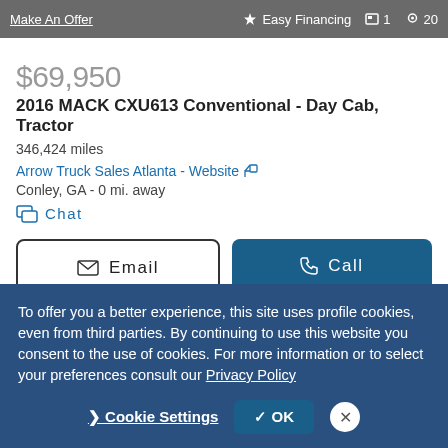Make An Offer | Easy Financing | 1 | 20
$69,950
2016 MACK CXU613 Conventional - Day Cab, Tractor
346,424 miles
Arrow Truck Sales Atlanta - Website
Conley, GA - 0 mi. away
Chat
Email
Call
Video chat with this dealer
To offer you a better experience, this site uses profile cookies, even from third parties. By continuing to use this website you consent to the use of cookies. For more information or to select your preferences consult our Privacy Policy
Cookie Settings | OK